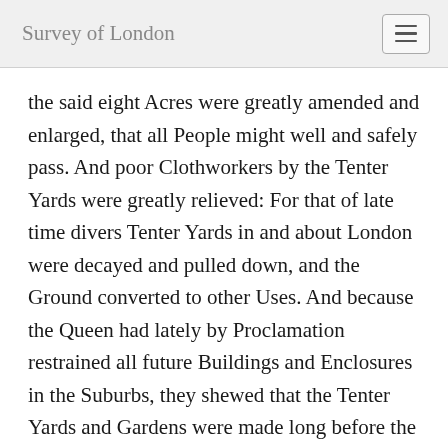Survey of London
the said eight Acres were greatly amended and enlarged, that all People might well and safely pass. And poor Clothworkers by the Tenter Yards were greatly relieved: For that of late time divers Tenter Yards in and about London were decayed and pulled down, and the Ground converted to other Uses. And because the Queen had lately by Proclamation restrained all future Buildings and Enclosures in the Suburbs, they shewed that the Tenter Yards and Gardens were made long before the said Proclamation.'³
Division of the Whitechapel section of the north side